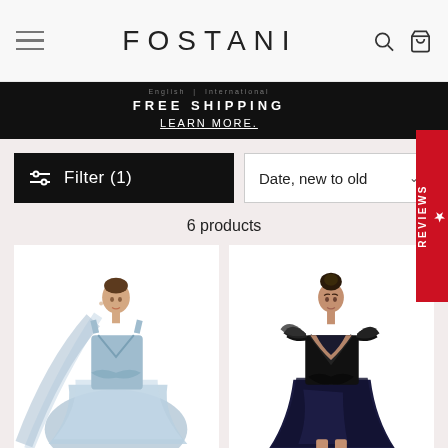FOSTANI
FREE SHIPPING
LEARN MORE.
Filter (1)
Date, new to old
6 products
[Figure (photo): Model wearing a light blue flowing gown with deep V-neckline, bow waist detail, and dramatic tulle cape]
[Figure (photo): Model wearing a black and dark blue short ruffled dress with deep V-neckline and ruffled shoulder straps]
★ REVIEWS